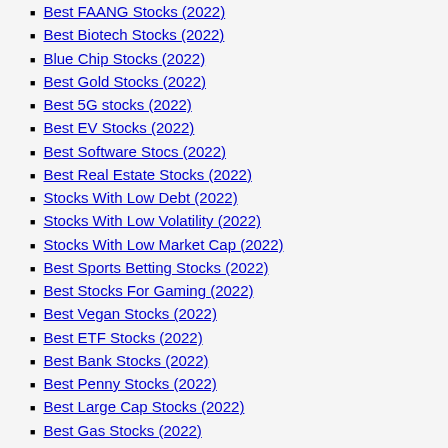Best FAANG Stocks (2022)
Best Biotech Stocks (2022)
Blue Chip Stocks (2022)
Best Gold Stocks (2022)
Best 5G stocks (2022)
Best EV Stocks (2022)
Best Software Stocs (2022)
Best Real Estate Stocks (2022)
Stocks With Low Debt (2022)
Stocks With Low Volatility (2022)
Stocks With Low Market Cap (2022)
Best Sports Betting Stocks (2022)
Best Stocks For Gaming (2022)
Best Vegan Stocks (2022)
Best ETF Stocks (2022)
Best Bank Stocks (2022)
Best Penny Stocks (2022)
Best Large Cap Stocks (2022)
Best Gas Stocks (2022)
Best Ipo Stocks (2022)
Best Oil Stocks (2022)
Stock Markets
New York Stock Exchange (NYSE)
NASDAQ Stock Exchange (NASDAQ)
NYSEAmerican Stock Exchange (AMEX)